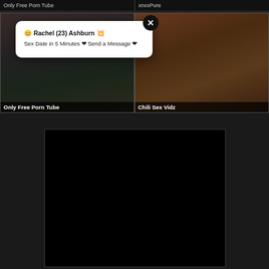Only Free Porn Tube
xnxxPure
[Figure (screenshot): Two video thumbnail cells side by side. Left shows a cooking scene, right shows a brownish skin-toned scene. A white popup overlay appears above showing a notification: 'Rachel (23) Ashburn — Sex Date in 5 Minutes — Send a Message' with a close button.]
Only Free Porn Tube
Chili Sex Vidz
[Figure (screenshot): Black rectangular advertisement area in lower center of page.]